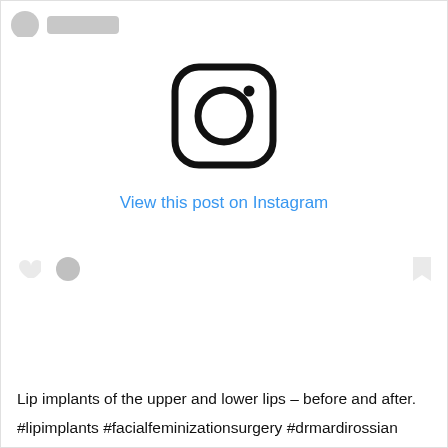[Figure (screenshot): Instagram post embed placeholder showing the Instagram camera logo icon centered in a white box]
View this post on Instagram
Lip implants of the upper and lower lips – before and after.
#lipimplants #facialfeminizationsurgery #drmardirossian